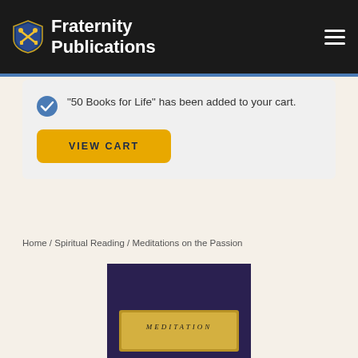Fraternity Publications
"50 Books for Life" has been added to your cart.
VIEW CART
Home / Spiritual Reading / Meditations on the Passion
[Figure (photo): Book cover of Meditations on the Passion with dark navy background and gold label showing title text]